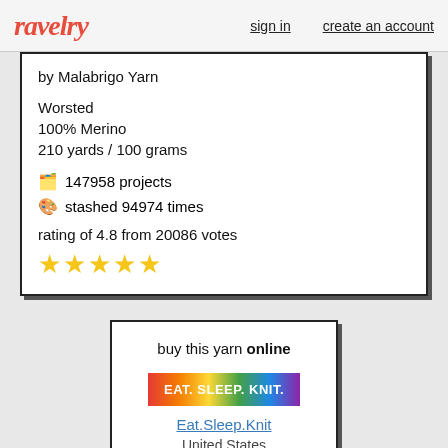ravelry | sign in | create an account
by Malabrigo Yarn
Worsted
100% Merino
210 yards / 100 grams
147958 projects
stashed 94974 times
rating of 4.8 from 20086 votes
★★★★★
buy this yarn online
Eat.Sleep.Knit
United States